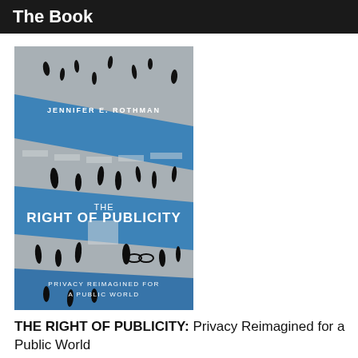The Book
[Figure (illustration): Book cover of 'The Right of Publicity: Privacy Reimagined for a Public World' by Jennifer E. Rothman. Cover shows an aerial black-and-white photograph of pedestrians crossing a street, overlaid with blue diagonal stripe bands. The title text appears in white on the cover.]
THE RIGHT OF PUBLICITY: Privacy Reimagined for a Public World